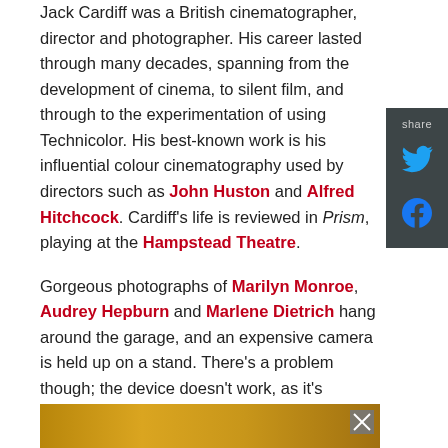Jack Cardiff was a British cinematographer, director and photographer. His career lasted through many decades, spanning from the development of cinema, to silent film, and through to the experimentation of using Technicolor. His best-known work is his influential colour cinematography used by directors such as John Huston and Alfred Hitchcock. Cardiff's life is reviewed in Prism, playing at the Hampstead Theatre.
Gorgeous photographs of Marilyn Monroe, Audrey Hepburn and Marlene Dietrich hang around the garage, and an expensive camera is held up on a stand. There's a problem though; the device doesn't work, as it's missing a vital component, the prism. The prism is a miracle of light, and an object that splits this light into a rainbow of three colours, creating a Technicolor fantasy.
[Figure (photo): A partial image visible at the bottom of the page with golden/warm tones]